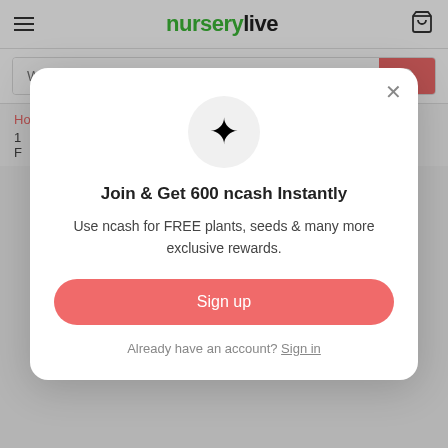nurserylive
What are you looking for?
Home > Brown Color Planters >
1
F
[Figure (screenshot): Modal popup with sparkle icon, heading 'Join & Get 600 ncash Instantly', description text, Sign up button, and Sign in link]
Join & Get 600 ncash Instantly
Use ncash for FREE plants, seeds & many more exclusive rewards.
Sign up
Already have an account? Sign in